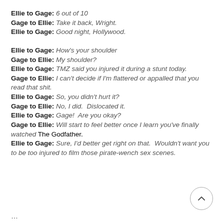Ellie to Gage: 6 out of 10
Gage to Ellie: Take it back, Wright.
Ellie to Gage: Good night, Hollywood.
Ellie to Gage: How's your shoulder
Gage to Ellie: My shoulder?
Ellie to Gage: TMZ said you injured it during a stunt today.
Gage to Ellie: I can't decide if I'm flattered or appalled that you read that shit.
Ellie to Gage: So, you didn't hurt it?
Gage to Ellie: No, I did.  Dislocated it.
Ellie to Gage: Gage!  Are you okay?
Gage to Ellie: Will start to feel better once I learn you've finally watched The Godfather.
Ellie to Gage: Sure, I'd better get right on that.  Wouldn't want you to be too injured to film those pirate-wench sex scenes.